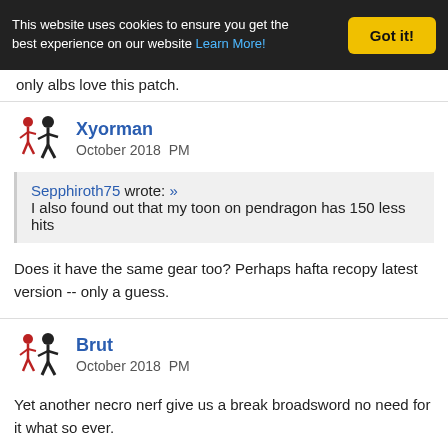This website uses cookies to ensure you get the best experience on our website Learn More! Got it!
only albs love this patch.
Xyorman
October 2018  PM
Sepphiroth75 wrote: »
I also found out that my toon on pendragon has 150 less hits
Does it have the same gear too? Perhaps hafta recopy latest version -- only a guess.
Brut
October 2018  PM
Yet another necro nerf give us a break broadsword no need for it what so ever.